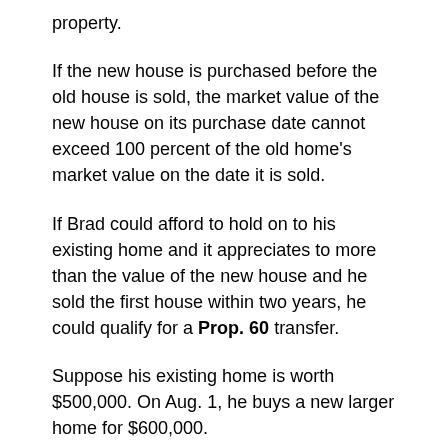property.
If the new house is purchased before the old house is sold, the market value of the new house on its purchase date cannot exceed 100 percent of the old home's market value on the date it is sold.
If Brad could afford to hold on to his existing home and it appreciates to more than the value of the new house and he sold the first house within two years, he could qualify for a Prop. 60 transfer.
Suppose his existing home is worth $500,000. On Aug. 1, he buys a new larger home for $600,000.
He holds on to the first home, San Francisco property values go through the roof, and two years later it is worth $610,000. He could sell the first home before Aug. 1, 2014, and retroactively transfer his old property tax